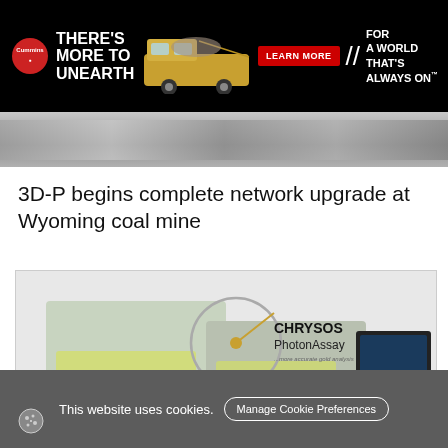[Figure (photo): Cummins advertisement banner: black background with Cummins logo, text 'THERE'S MORE TO UNEARTH', mining truck image, red 'LEARN MORE' button, and text 'FOR A WORLD THAT'S ALWAYS ON']
[Figure (photo): Gray image strip showing partial mining or industrial scene]
3D-P begins complete network upgrade at Wyoming coal mine
[Figure (photo): Two men in high-visibility yellow vests standing in front of a Chrysos PhotonAssay branded backdrop with a screen visible; one man holds a device]
This website uses cookies.
Manage Cookie Preferences